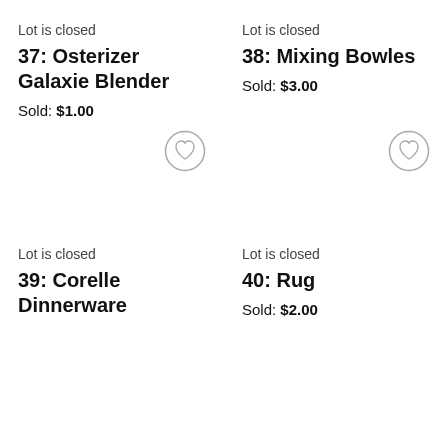Lot is closed
37: Osterizer Galaxie Blender
Sold: $1.00
[Figure (illustration): Heart/favorite icon button (circle with heart outline) for lot 37]
Lot is closed
38: Mixing Bowles
Sold: $3.00
[Figure (illustration): Heart/favorite icon button (circle with heart outline) for lot 38]
Lot is closed
39: Corelle Dinnerware
Lot is closed
40: Rug
Sold: $2.00